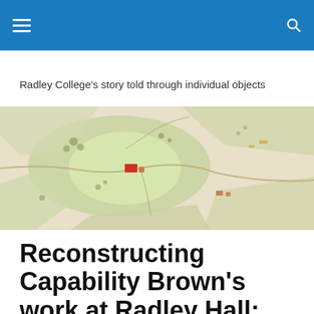≡  🔍
Radley College's story told through individual objects
[Figure (map): Antique estate map showing Radley Hall grounds with green parkland, field boundaries, and small red building marker]
Reconstructing Capability Brown's work at Radley Hall: fish pond into lake: water features from formal to picturesque